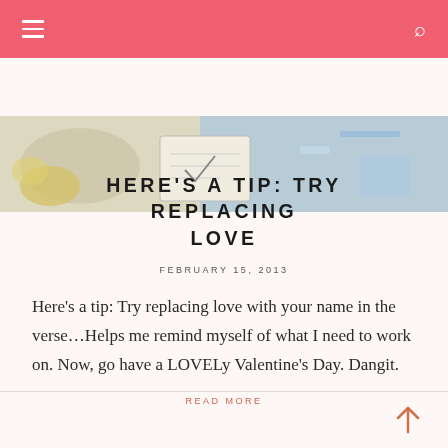navigation bar with hamburger menu and search icon
[Figure (photo): Hero image showing a flatlay with flowers, a notebook/calendar page with a checkmark, and colorful stationery items]
HERE'S A TIP: TRY REPLACING LOVE
FEBRUARY 15, 2013
Here's a tip: Try replacing love with your name in the verse…Helps me remind myself of what I need to work on. Now, go have a LOVELy Valentine's Day. Dangit.
READ MORE